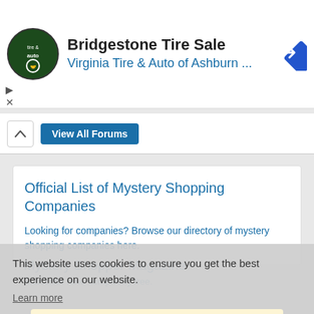[Figure (infographic): Advertisement banner: Bridgestone Tire Sale - Virginia Tire & Auto of Ashburn ... with circular logo and blue diamond arrow icon]
Bridgestone Tire Sale
Virginia Tire & Auto of Ashburn ...
View All Forums
Official List of Mystery Shopping Companies
Looking for companies? Browse our directory of mystery shopping companies here.
Mystery Shopper Magazine
Subscribe now, completely free.
This website uses cookies to ensure you get the best experience on our website.
Learn more
Got it!